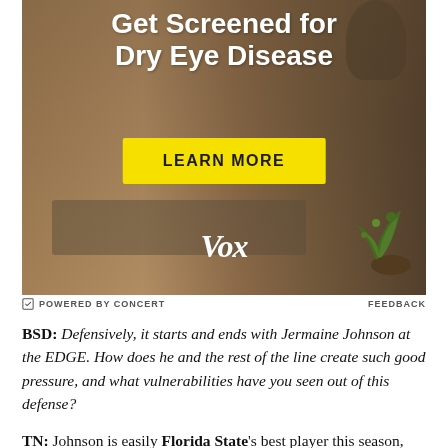[Figure (illustration): Advertisement banner: 'Get Screened for Dry Eye Disease' with a yellow 'LEARN MORE' button and Vox logo, over a background photo of a person at a laptop.]
POWERED BY CONCERT    FEEDBACK
BSD: Defensively, it starts and ends with Jermaine Johnson at the EDGE. How does he and the rest of the line create such good pressure, and what vulnerabilities have you seen out of this defense?
TN: Johnson is easily Florida State's best player this season, and it's not close, so you're right about that.